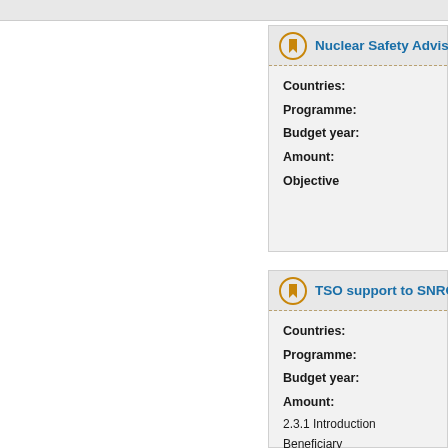Nuclear Safety Advisor for
Countries:
Programme:
Budget year:
Amount:

Objective
TSO support to SNRC in t
Countries:
Programme:
Budget year:
Amount:

2.3.1 Introduction
Beneficiary /location:SNRCU – Stat Ukraine

Main contractor: RISK AUDIT IREN